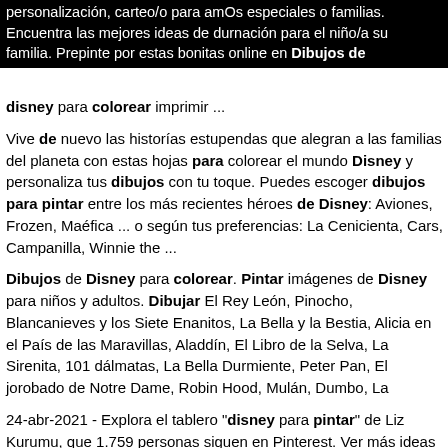personalización, carteo/o para amOs especiales o familias. Encuentra las mejores ideas de durnación para el niño/a su familia. Prepinte por estas bonitas online en Dibujos de disney para colorear imprimir ...
Vive de nuevo las historías estupendas que alegran a las familias del planeta con estas hojas para colorear el mundo Disney y personaliza tus dibujos con tu toque. Puedes escoger dibujos para pintar entre los más recientes héroes de Disney: Aviones, Frozen, Maéfica ... o según tus preferencias: La Cenicienta, Cars, Campanilla, Winnie the ...
Dibujos de Disney para colorear. Pintar imágenes de Disney para niños y adultos. Dibujar El Rey León, Pinocho, Blancanieves y los Siete Enanitos, La Bella y la Bestia, Alicia en el País de las Maravillas, Aladdín, El Libro de la Selva, La Sirenita, 101 dálmatas, La Bella Durmiente, Peter Pan, El jorobado de Notre Dame, Robin Hood, Mulán, Dumbo, La
24-abr-2021 - Explora el tablero "disney para pintar" de Liz Kurumu, que 1.759 personas siguen en Pinterest. Ver más ideas sobre dibujos para colorear, colorear disney, dibujos.